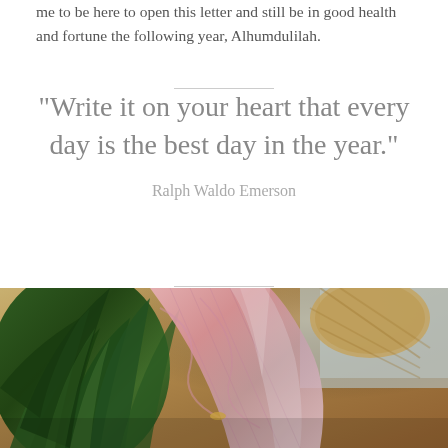me to be here to open this letter and still be in good health and fortune the following year, Alhumdulilah.
“Write it on your heart that every day is the best day in the year.”
Ralph Waldo Emerson
[Figure (photo): Close-up photo of green succulent plant wrapped in pink floral/marbled paper, with a wicker basket visible in the background on a wooden surface.]